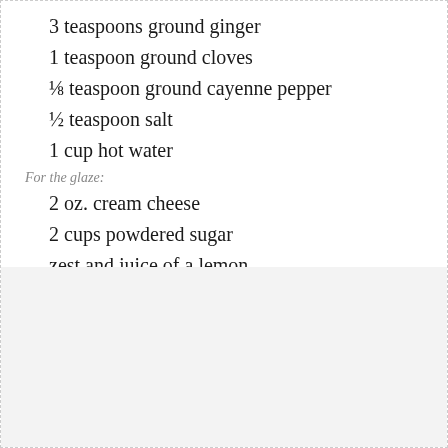3 teaspoons ground ginger
1 teaspoon ground cloves
⅛ teaspoon ground cayenne pepper
½ teaspoon salt
1 cup hot water
For the glaze:
2 oz. cream cheese
2 cups powdered sugar
zest and juice of a lemon
milk for thinning
Candied ginger for garnish (optional)